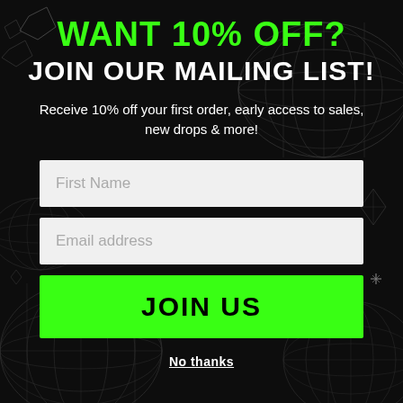WANT 10% OFF?
JOIN OUR MAILING LIST!
Receive 10% off your first order, early access to sales, new drops & more!
[Figure (illustration): Dark background with wireframe snake/sphere geometric shapes in gray on black]
First Name
Email address
JOIN US
No thanks